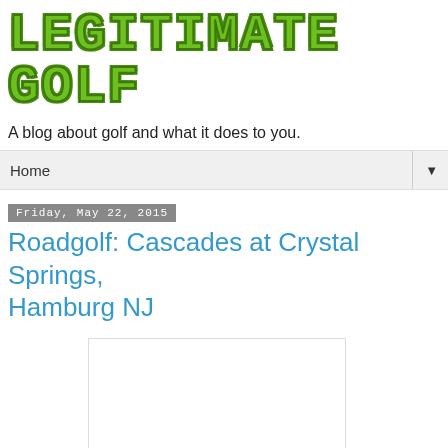LEGITIMATE GOLF
A blog about golf and what it does to you.
Home ▼
Friday, May 22, 2015
Roadgolf: Cascades at Crystal Springs, Hamburg NJ
[Figure (photo): White/blank image placeholder below the post title]